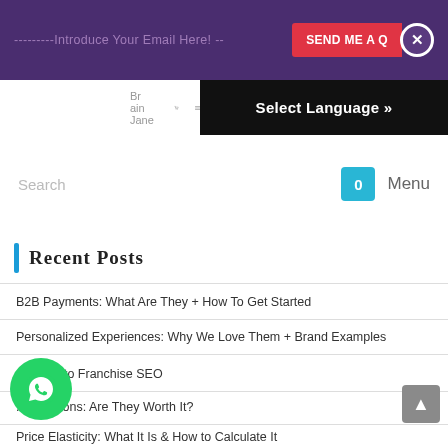---------Introduce Your Email Here! -- SEND ME A Q X
Select Language »
[Figure (screenshot): Navigation bar with shopping bag icon, hamburger menu icon, and 'Br ain Jane' logo text]
Search  0  Menu
Recent Posts
B2B Payments: What Are They + How To Get Started
Personalized Experiences: Why We Love Them + Brand Examples
A Guide to Franchise SEO
...rtifications: Are They Worth It?
Price Elasticity: What It Is & How to Calculate It